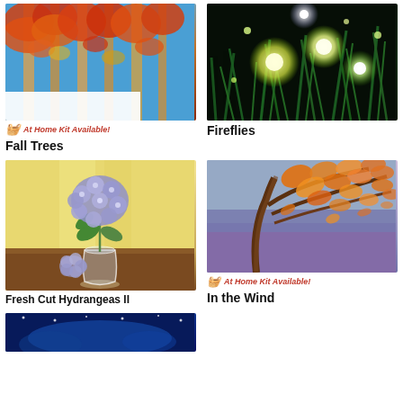[Figure (illustration): Painting of fall trees with orange and red foliage against a blue sky, viewed from below]
At Home Kit Available!
Fall Trees
[Figure (illustration): Painting of fireflies glowing in a dark night with green grass and bright orbs of light]
Fireflies
[Figure (illustration): Painting of fresh cut blue hydrangeas in a glass vase on a dark table]
Fresh Cut Hydrangeas II
[Figure (illustration): Painting of an autumn tree with orange and yellow leaves blowing in the wind against a purple sky]
At Home Kit Available!
In the Wind
[Figure (illustration): Partial view of a painting with blue tones, bottom of page]